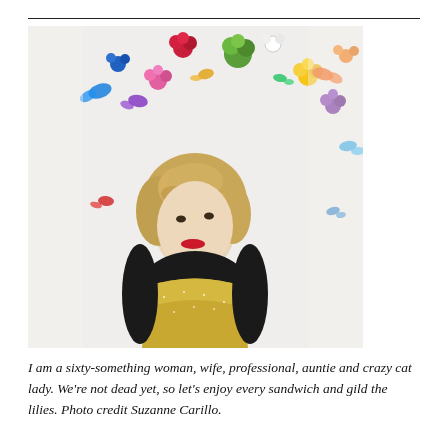[Figure (photo): A woman with curly blonde hair and red lipstick wearing a black and gold glitter dress, standing in front of a white background decorated with colorful flowers and butterflies. The woman is looking upward and to the side.]
I am a sixty-something woman, wife, professional, auntie and crazy cat lady. We're not dead yet, so let's enjoy every sandwich and gild the lilies. Photo credit Suzanne Carillo.